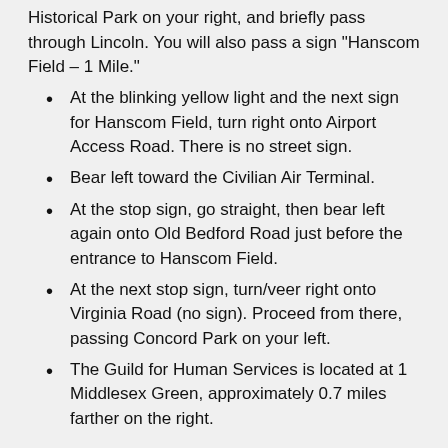Historical Park on your right, and briefly pass through Lincoln. You will also pass a sign "Hanscom Field – 1 Mile."
At the blinking yellow light and the next sign for Hanscom Field, turn right onto Airport Access Road. There is no street sign.
Bear left toward the Civilian Air Terminal.
At the stop sign, go straight, then bear left again onto Old Bedford Road just before the entrance to Hanscom Field.
At the next stop sign, turn/veer right onto Virginia Road (no sign). Proceed from there, passing Concord Park on your left.
The Guild for Human Services is located at 1 Middlesex Green, approximately 0.7 miles farther on the right.
From Route 2